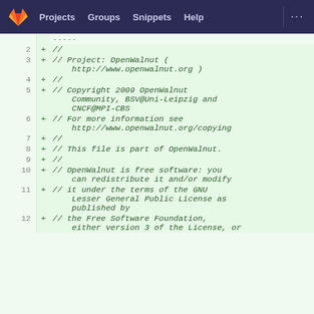Projects  Groups  Snippets  Help  ...
-----
2  + //
3  + // Project: OpenWalnut ( http://www.openwalnut.org )
4  + //
5  + // Copyright 2009 OpenWalnut Community, BSV@Uni-Leipzig and CNCF@MPI-CBS
6  + // For more information see http://www.openwalnut.org/copying
7  + //
8  + // This file is part of OpenWalnut.
9  + //
10 + // OpenWalnut is free software: you can redistribute it and/or modify
11 + // it under the terms of the GNU Lesser General Public License as published by
12 + // the Free Software Foundation, either version 3 of the License, or